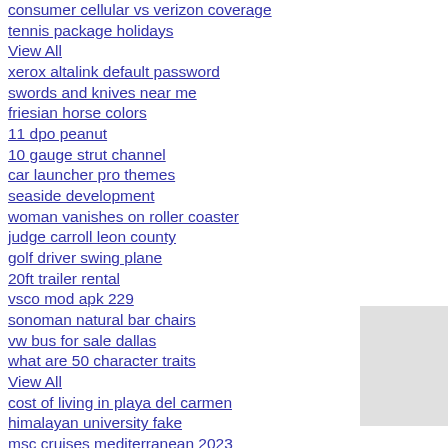consumer cellular vs verizon coverage
tennis package holidays
View All
xerox altalink default password
swords and knives near me
friesian horse colors
11 dpo peanut
10 gauge strut channel
car launcher pro themes
seaside development
woman vanishes on roller coaster
judge carroll leon county
golf driver swing plane
20ft trailer rental
vsco mod apk 229
sonoman natural bar chairs
vw bus for sale dallas
what are 50 character traits
View All
cost of living in playa del carmen
himalayan university fake
msc cruises mediterranean 2023
aac payout per school 2021
the united methodist church is doomed
2008 acura tl fuse box cover
levi x dying reader x petra